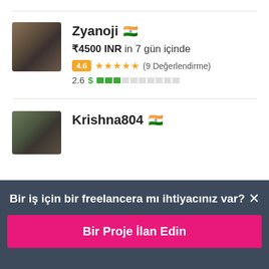[Figure (screenshot): Profile card for user Zyanoji with Indian flag, price ₹4500 INR in 7 gün içinde, rating 4.6 stars with 9 Değerlendirme, earnings score 2.6]
Zyanoji 🇮🇳
₹4500 INR in 7 gün içinde
4.6 ★★★★★ (9 Değerlendirme)
2.6 $ ███░░░░░░░
[Figure (screenshot): Partial profile card for user Krishna804 with Indian flag]
Krishna804 🇮🇳
Bir iş için bir freelancera mı ihtiyacınız var? ×
Bir Proje İlan Edin